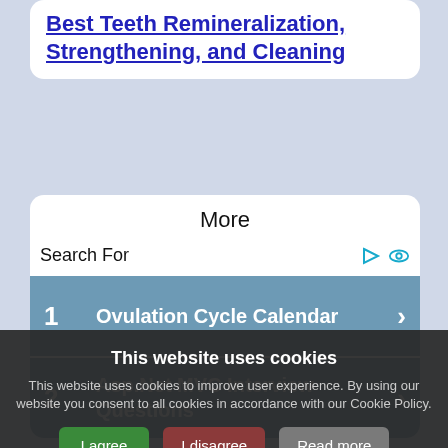Best Teeth Remineralization, Strengthening, and Cleaning
More
Search For
1  Ovulation Cycle Calendar
2  Asp.Net MVC Interview Questions
This website uses cookies
This website uses cookies to improve user experience. By using our website you consent to all cookies in accordance with our Cookie Policy.
I agree  I disagree  Read more